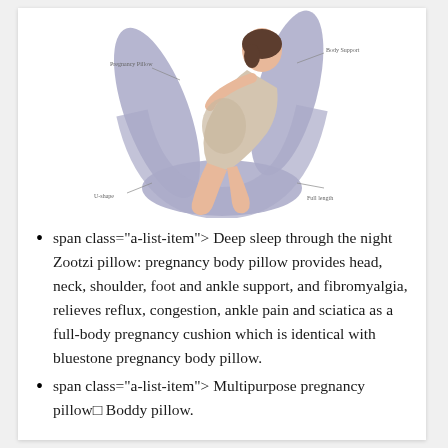[Figure (photo): A pregnant woman lying on a large U-shaped grey body pillow, shown with anatomical support labels on the pillow.]
span class="a-list-item"> ​Deep sleep through the night​Zootzi pillow: pregnancy body pillow provides head, neck, shoulder, foot and ankle support, and fibromyalgia, relieves reflux, congestion, ankle pain and sciatica as a full-body pregnancy cushion which is identical with bluestone pregnancy body pillow.
span class="a-list-item"> ​Multipurpose pregnancy pillow​ Boddy pillow.